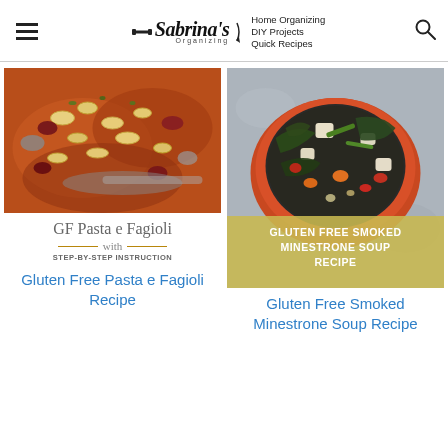Sabrina's Organizing | Home Organizing | DIY Projects | Quick Recipes
[Figure (photo): Close-up photo of pasta e fagioli soup with elbow macaroni and kidney beans in a reddish-brown broth, with a spoon visible]
GF Pasta e Fagioli with STEP-BY-STEP INSTRUCTION
[Figure (photo): Overhead photo of a red bowl filled with gluten free smoked minestrone soup containing vegetables, beans, and greens, with a golden overlay banner reading GLUTEN FREE SMOKED MINESTRONE SOUP RECIPE]
Gluten Free Pasta e Fagioli Recipe
Gluten Free Smoked Minestrone Soup Recipe